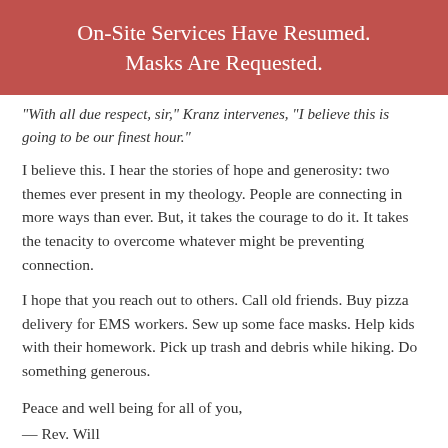On-Site Services Have Resumed. Masks Are Requested.
"With all due respect, sir," Kranz intervenes, "I believe this is going to be our finest hour."
I believe this. I hear the stories of hope and generosity: two themes ever present in my theology. People are connecting in more ways than ever. But, it takes the courage to do it. It takes the tenacity to overcome whatever might be preventing connection.
I hope that you reach out to others. Call old friends. Buy pizza delivery for EMS workers. Sew up some face masks. Help kids with their homework. Pick up trash and debris while hiking. Do something generous.
Peace and well being for all of you,
— Rev. Will